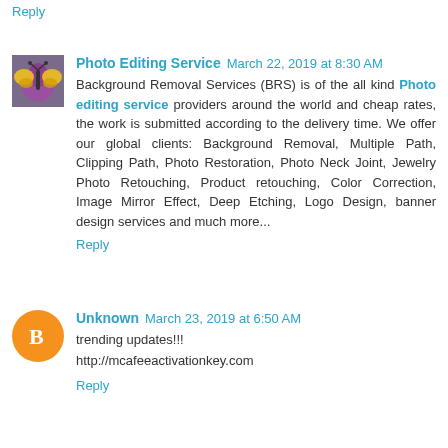Reply
Photo Editing Service  March 22, 2019 at 8:30 AM
Background Removal Services (BRS) is of the all kind Photo editing service providers around the world and cheap rates, the work is submitted according to the delivery time. We offer our global clients: Background Removal, Multiple Path, Clipping Path, Photo Restoration, Photo Neck Joint, Jewelry Photo Retouching, Product retouching, Color Correction, Image Mirror Effect, Deep Etching, Logo Design, banner design services and much more...
Reply
Unknown  March 23, 2019 at 6:50 AM
trending updates!!!
http://mcafeeactivationkey.com
Reply